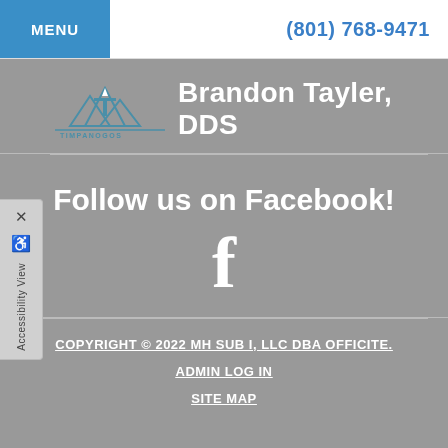MENU | (801) 768-9471
[Figure (logo): Timpanogos Dental logo with mountain illustration and text]
Brandon Tayler, DDS
Follow us on Facebook!
[Figure (illustration): Facebook 'f' icon]
COPYRIGHT © 2022 MH SUB I, LLC DBA OFFICITE.
ADMIN LOG IN
SITE MAP